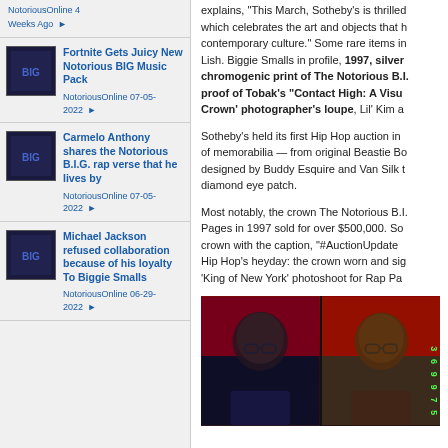NotoriousOnline 4 Weeks Ago
Fortnite Gets Juicy New Notorious BIG Music Pack — NotoriousOnline 07-05-2022
Carmelo Anthony shares the Notorious B.I.G. rap verse that he lives by — NotoriousOnline 07-05-2022
Michael Jackson refused collaboration because of his loyalty To Biggie Smalls — NotoriousOnline 06-29-2022
explains, "This March, Sotheby's is thrilled which celebrates the art and objects that h contemporary culture." Some rare items in Lish. Biggie Smalls in profile, 1997, silver chromogenic print of The Notorious B.I. proof of Tobak's "Contact High: A Visu Crown' photographer's loupe, Lil' Kim a
Sotheby's held its first Hip Hop auction in of memorabilia — from original Beastie Bo designed by Buddy Esquire and Van Silk t diamond eye patch.
Most notably, the crown The Notorious B.I. Pages in 1997 sold for over $500,000. So crown with the caption, "#AuctionUpdate Hip Hop's heyday: the crown worn and sig 'King of New York' photoshoot for Rap Pa
[Figure (photo): Two film contact sheet photos of The Notorious B.I.G. against red background, with green film numbers overlay on right side]